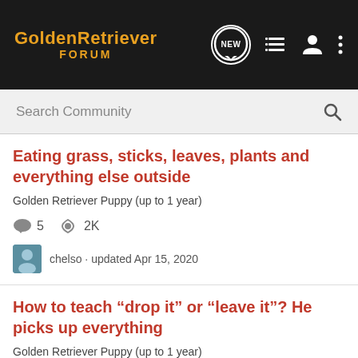GoldenRetriever FORUM
Search Community
Eating grass, sticks, leaves, plants and everything else outside
Golden Retriever Puppy (up to 1 year)
5 comments  2K views
chelso · updated Apr 15, 2020
How to teach “drop it” or “leave it”? He picks up everything
Golden Retriever Puppy (up to 1 year)
5 comments  2K views
GoldenChip · updated 11 mo ago